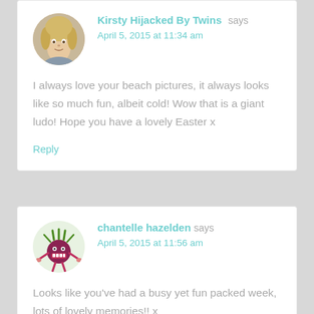[Figure (photo): Round avatar photo of Kirsty, a blonde woman smiling]
Kirsty Hijacked By Twins says
April 5, 2015 at 11:34 am
I always love your beach pictures, it always looks like so much fun, albeit cold! Wow that is a giant ludo! Hope you have a lovely Easter x
Reply
[Figure (illustration): Round avatar illustration of a cartoon beetroot/monster character with green hair, pink limbs, and a grimacing face]
chantelle hazelden says
April 5, 2015 at 11:56 am
Looks like you've had a busy yet fun packed week, lots of lovely memories!! x